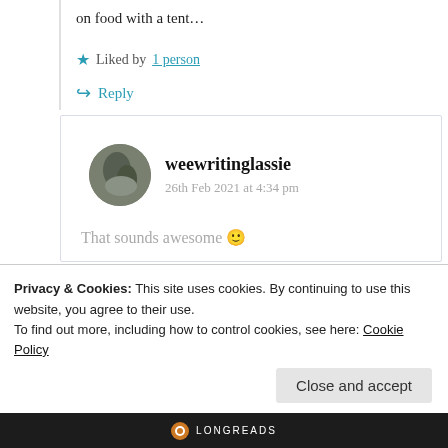on food with a tent…
★ Liked by 1 person
↪ Reply
weewritinglassie
26th Feb 2021 at 4:34 pm
That sounds awesome 🙂
Privacy & Cookies: This site uses cookies. By continuing to use this website, you agree to their use.
To find out more, including how to control cookies, see here: Cookie Policy
Close and accept